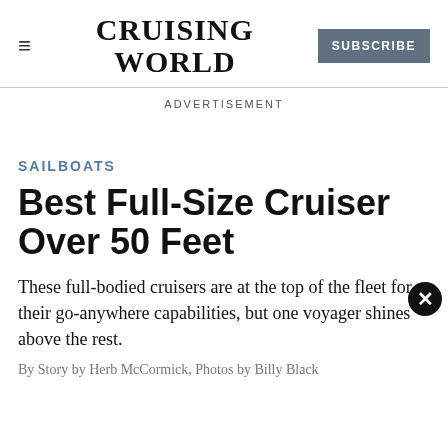CRUISING WORLD | SUBSCRIBE
ADVERTISEMENT
SAILBOATS
Best Full-Size Cruiser Over 50 Feet
These full-bodied cruisers are at the top of the fleet for their go-anywhere capabilities, but one voyager shines above the rest.
By Story by Herb McCormick, Photos by Billy Black